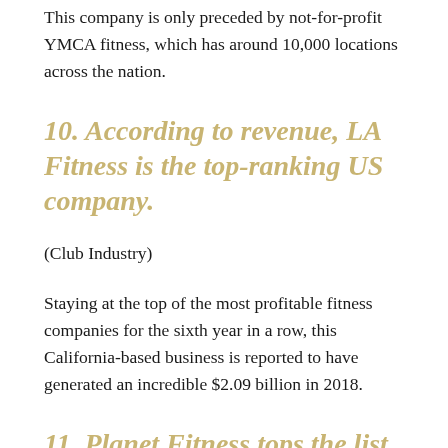This company is only preceded by not-for-profit YMCA fitness, which has around 10,000 locations across the nation.
10. According to revenue, LA Fitness is the top-ranking US company.
(Club Industry)
Staying at the top of the most profitable fitness companies for the sixth year in a row, this California-based business is reported to have generated an incredible $2.09 billion in 2018.
11. Planet Fitness tops the list of best gyms for your wallet.